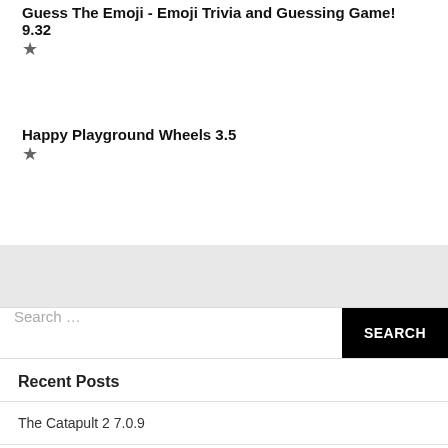Guess The Emoji - Emoji Trivia and Guessing Game! 9.32
★
Happy Playground Wheels 3.5
★
Search …
Recent Posts
The Catapult 2 7.0.9
Idle Theme Park Tycoon 2.7
Shadow Knight: Ninja Game War 1.25.7